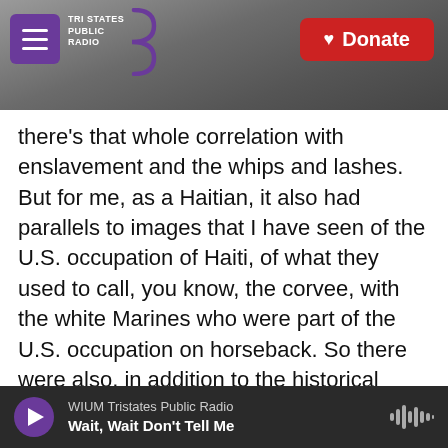[Figure (screenshot): Website header for Tri States Public Radio with hamburger menu icon in purple square, radio station logo, and red Donate button with heart icon, over a dark grayscale photo background]
there's that whole correlation with enslavement and the whips and lashes. But for me, as a Haitian, it also had parallels to images that I have seen of the U.S. occupation of Haiti, of what they used to call, you know, the corvee, with the white Marines who were part of the U.S. occupation on horseback. So there were also, in addition to the historical echoes of this country, historical echoes of our country, of the U.S. occupation between 1915 and 1934.

FADEL: You know, I want to play a clip from your August 2019 interview with NPR, specifically a part
WIUM Tristates Public Radio — Wait, Wait Don't Tell Me